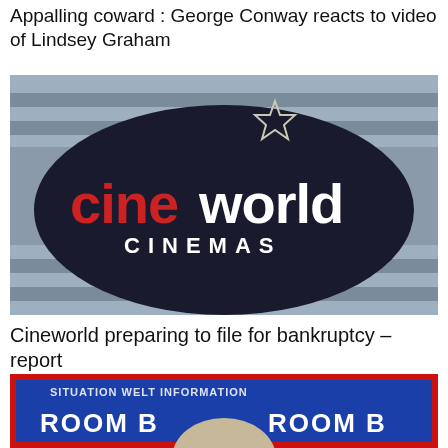Appalling coward : George Conway reacts to video of Lindsey Graham
[Figure (photo): Exterior photo of a Cineworld Cinemas building showing the large oval black sign with 'cine' in red letters and 'world' in white letters, with 'CINEMAS' below and a star logo above, against a grey corrugated metal building exterior with blue and grey striped panels.]
Cineworld preparing to file for bankruptcy – report
[Figure (screenshot): Partial screenshot of a TV broadcast or video thumbnail showing a person's head visible from the top, with a blue background and red border, and text overlay showing 'ROOM B' on both left and right sides, with additional text above partially visible.]